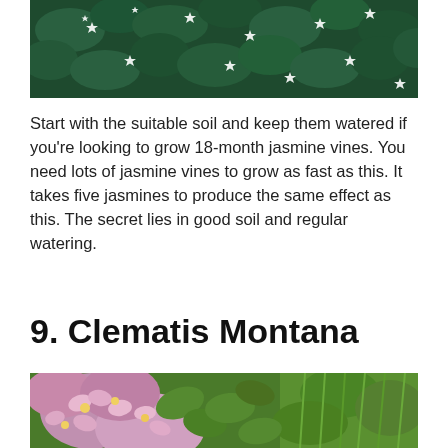[Figure (photo): Dense green jasmine vine foliage with small white star-shaped flowers covering a wall]
Start with the suitable soil and keep them watered if you're looking to grow 18-month jasmine vines. You need lots of jasmine vines to grow as fast as this. It takes five jasmines to produce the same effect as this. The secret lies in good soil and regular watering.
9. Clematis Montana
[Figure (photo): Clematis Montana plant with pink/purple flowers and green foliage]